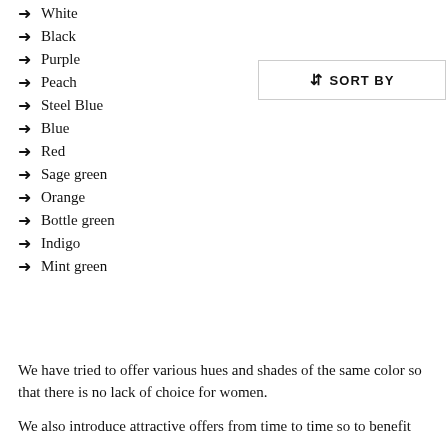White
Black
Purple
Peach
Steel Blue
Blue
Red
Sage green
Orange
Bottle green
Indigo
Mint green
[Figure (screenshot): Sort By button with up-down arrow icon]
We have tried to offer various hues and shades of the same color so that there is no lack of choice for women.
We also introduce attractive offers from time to time so to benefit